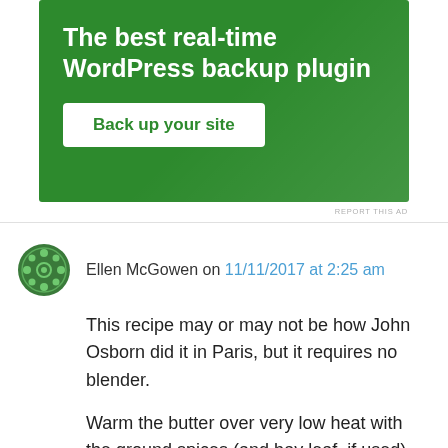[Figure (other): Green advertisement banner for a WordPress backup plugin. Title reads 'The best real-time WordPress backup plugin' with a white button 'Back up your site'.]
REPORT THIS AD
Ellen McGowen on 11/11/2017 at 2:25 am
This recipe may or may not be how John Osborn did it in Paris, but it requires no blender.
Warm the butter over very low heat with the ground spices (and bay leaf, if used) for a little while to extract some of the spice oils. Then add the drained anchovies and stir continuously, still over low heat. You may add extra salt if you are